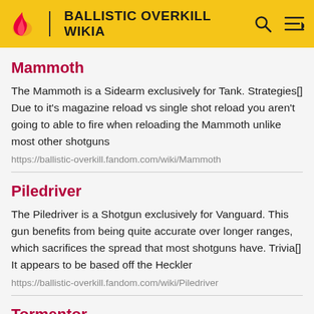BALLISTIC OVERKILL WIKIA
Mammoth
The Mammoth is a Sidearm exclusively for Tank. Strategies[] Due to it's magazine reload vs single shot reload you aren't going to able to fire when reloading the Mammoth unlike most other shotguns
https://ballistic-overkill.fandom.com/wiki/Mammoth
Piledriver
The Piledriver is a Shotgun exclusively for Vanguard. This gun benefits from being quite accurate over longer ranges, which sacrifices the spread that most shotguns have. Trivia[] It appears to be based off the Heckler
https://ballistic-overkill.fandom.com/wiki/Piledriver
Tormentor
The Tormentor is a Shotgun exclusively for Berserker. Trivia[] The